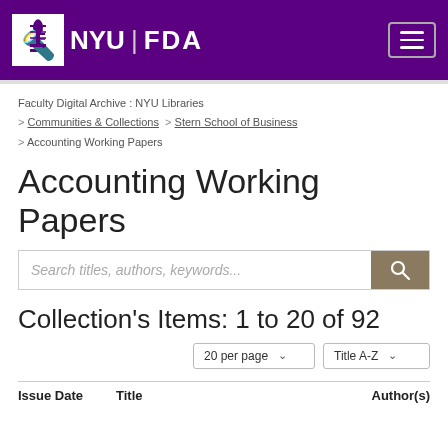NYU | FDA
Faculty Digital Archive : NYU Libraries > Communities & Collections > Stern School of Business > Accounting Working Papers
Accounting Working Papers
Search titles, authors, keywords...
Collection's Items: 1 to 20 of 92
20 per page | Title A-Z
| Issue Date | Title | Author(s) |
| --- | --- | --- |